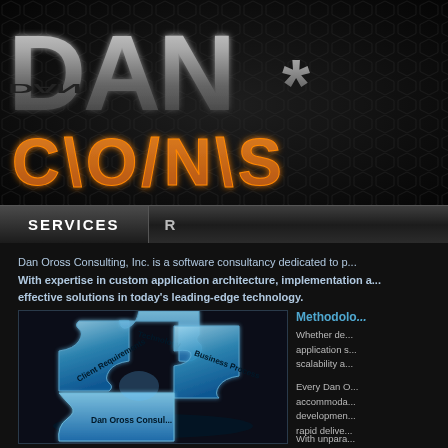[Figure (logo): Dan Oross Consulting logo with metallic 3D letters 'DAN*' and orange outlined text 'CONS' on dark hexagonal grid background]
SERVICES
Dan Oross Consulting, Inc. is a software consultancy dedicated to ... With expertise in custom application architecture, implementation a... effective solutions in today's leading-edge technology.
[Figure (illustration): 3D blue puzzle pieces labeled: Technology, Client Requirements, Business Process, Dan Oross Consulting]
Methodolo...
Whether de... application s... scalability a...
Every Dan O... accommoda... development... rapid delive...
With unpara... customers i... resources s...